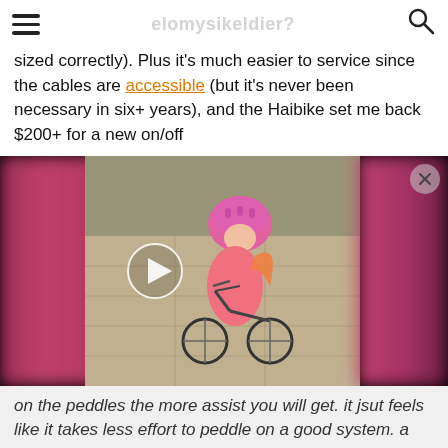elomysikeldier?
sized correctly). Plus it's much easier to service since the cables are accessible (but it's never been necessary in six+ years), and the Haibike set me back $200+ for a new on/off
[Figure (screenshot): Screenshot of a video player showing a young child wearing a pink helmet and pink clothing riding a small bike on a paved path. The video has blurred pink/purple bokeh on the left and right sides. A play button overlay is visible on the left portion of the video. A close (x) button is in the upper right corner.]
on the peddles the more assist you will get. it jsut feels like it takes less effort to peddle on a good system. a Bafang setup can do it but it will never be a smooth. only a Bafang mid drive or other Chinese motors will haves a